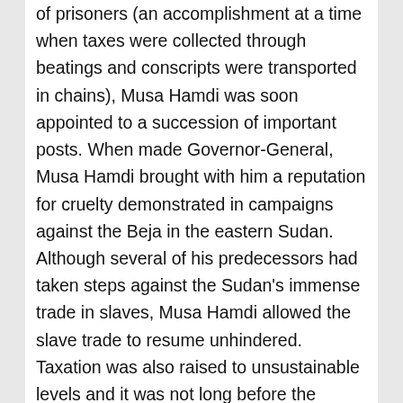of prisoners (an accomplishment at a time when taxes were collected through beatings and conscripts were transported in chains), Musa Hamdi was soon appointed to a succession of important posts. When made Governor-General, Musa Hamdi brought with him a reputation for cruelty demonstrated in campaigns against the Beja in the eastern Sudan. Although several of his predecessors had taken steps against the Sudan's immense trade in slaves, Musa Hamdi allowed the slave trade to resume unhindered. Taxation was also raised to unsustainable levels and it was not long before the Sudan's administration became a net drain on the Cairo treasury. In the south the Governor-General came into conflict with several of the often-large private slave armies created by Nubian and Arab traders and slavers from the north Sudan. A successful raid on Abyssinia resulted in Musa Hamdi's promotion to the third grade of pasha (Rumeli beylerbeyi), but a later expedition against the Nuba of Southern Kordofan ended in defeat for the Governor-General. Musa Hamdi solved the problem of a large and under-utilized army in the Sudan by loaning regular troops to slave-raiders in the South. The